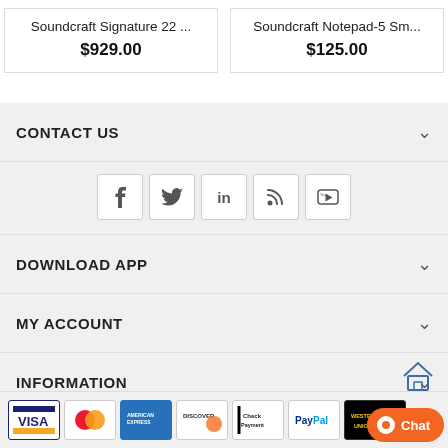Soundcraft Signature 22 ...
$929.00
Soundcraft Notepad-5 Sm...
$125.00
CONTACT US
[Figure (other): Social media icons: Facebook, Twitter, LinkedIn, RSS, YouTube]
DOWNLOAD APP
MY ACCOUNT
INFORMATION
[Figure (other): Payment method logos: Visa, MasterCard, American Express, Discover, Check Payment, PayPal, Western Union]